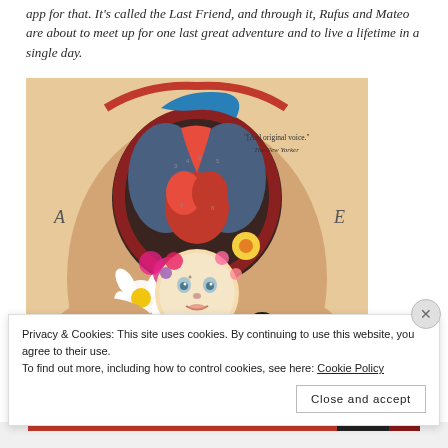app for that. It's called the Last Friend, and through it, Rufus and Mateo are about to meet up for one last great adventure and to live a lifetime in a single day.
[Figure (illustration): Book cover or editorial illustration: surreal anatomical collage showing a human torso opened to reveal organs (heart, lungs) mixed with colorful flowers (daisy, pansy, yellow flower, pink flower) and a cherubic doll-like face at center, flanked by two human hands palm-up. Letters 'A' and 'E' appear on left and right sides. A quote reads '[An] original voice.' — The New Yorker. A small black bird appears at lower right.]
Privacy & Cookies: This site uses cookies. By continuing to use this website, you agree to their use.
To find out more, including how to control cookies, see here: Cookie Policy
Close and accept